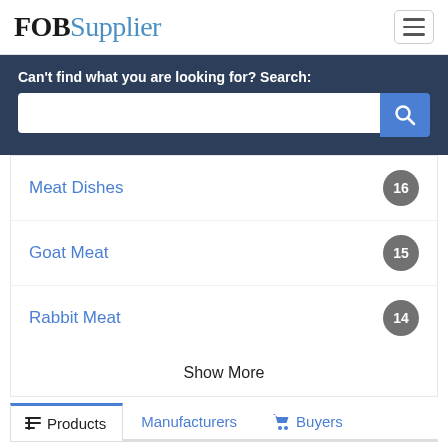FOBSupplier
Can't find what you are looking for? Search:
Meat Dishes 16
Goat Meat 15
Rabbit Meat 14
Show More
Products   Manufacturers   Buyers
Items Updated: Aug 24, 2022